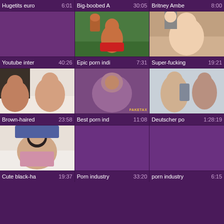Hugetits euro 6:01 | Big-boobed A 30:05 | Britney Ambe 8:00
[Figure (screenshot): Video thumbnail grid row 2: purple placeholder, explicit content thumbnail, explicit content thumbnail]
Youtube inter 40:26 | Epic porn indi 7:31 | Super-fucking 19:21
[Figure (screenshot): Video thumbnail grid row 3: explicit content, FakeTaxi thumbnail, explicit content]
Brown-haired 23:58 | Best porn ind 11:08 | Deutscher po 1:28:19
[Figure (screenshot): Video thumbnail grid row 4: explicit content, purple placeholder, purple placeholder]
Cute black-ha 19:37 | Porn industry 33:20 | porn industry 6:15